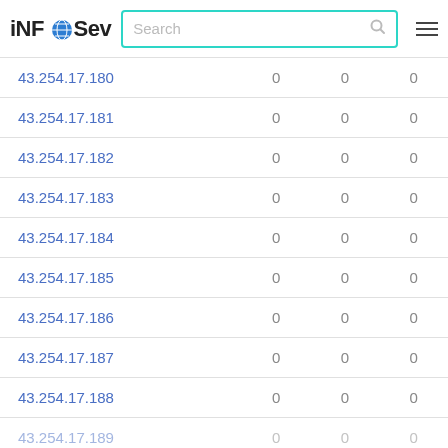iNFOSev [logo] Search [search box] [hamburger menu]
| IP | col2 | col3 | col4 |
| --- | --- | --- | --- |
| 43.254.17.180 | 0 | 0 | 0 |
| 43.254.17.181 | 0 | 0 | 0 |
| 43.254.17.182 | 0 | 0 | 0 |
| 43.254.17.183 | 0 | 0 | 0 |
| 43.254.17.184 | 0 | 0 | 0 |
| 43.254.17.185 | 0 | 0 | 0 |
| 43.254.17.186 | 0 | 0 | 0 |
| 43.254.17.187 | 0 | 0 | 0 |
| 43.254.17.188 | 0 | 0 | 0 |
| 43.254.17.189 | 0 | 0 | 0 |